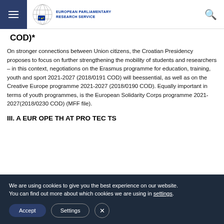European Parliamentary Research Service
COD)*
On stronger connections between Union citizens, the Croatian Presidency proposes to focus on further strengthening the mobility of students and researchers – in this context, negotiations on the Erasmus programme for education, training, youth and sport 2021-2027 (2018/0191 COD) will beessential, as well as on the Creative Europe programme 2021-2027 (2018/0190 COD). Equally important in terms of youth programmes, is the European Solidarity Corps programme 2021-2027(2018/0230 COD) (MFF file).
III. A EUR OPE TH AT PRO TEC TS
We are using cookies to give you the best experience on our website.
You can find out more about which cookies we are using in settings.